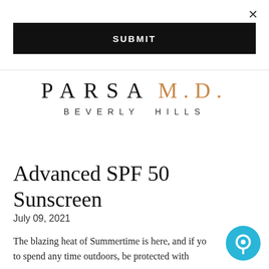×
SUBMIT
[Figure (logo): PARSA M.D. BEVERLY HILLS brand logo with PARSA in black and M.D. in brown/gold color]
Advanced SPF 50 Sunscreen
July 09, 2021
The blazing heat of Summertime is here, and if yo to spend any time outdoors, be protected with